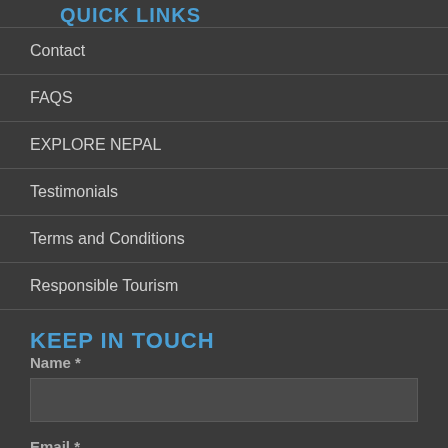QUICK LINKS
Contact
FAQS
EXPLORE NEPAL
Testimonials
Terms and Conditions
Responsible Tourism
KEEP IN TOUCH
Name *
Email *